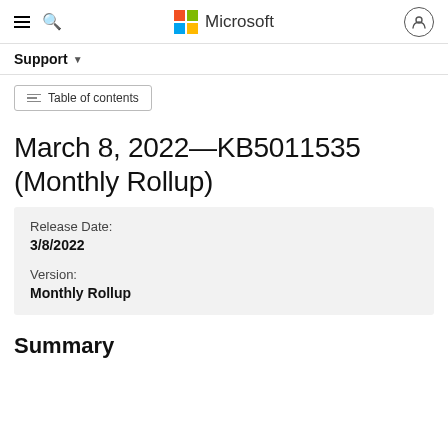Microsoft Support
Support
Table of contents
March 8, 2022—KB5011535 (Monthly Rollup)
Release Date:
3/8/2022
Version:
Monthly Rollup
Summary